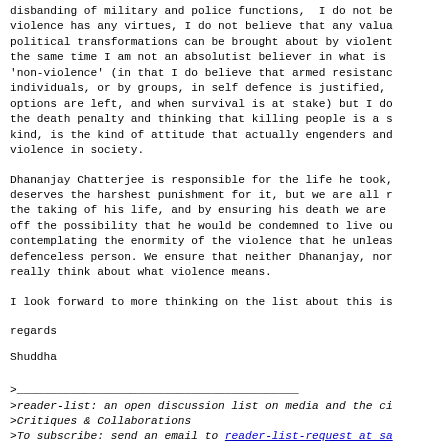disbanding of military and police functions,  I do not be
violence has any virtues, I do not believe that any valua
political transformations can be brought about by violent
the same time I am not an absolutist believer in what is
'non-violence' (in that I do believe that armed resistanc
individuals, or by groups, in self defence is justified,
options are left, and when survival is at stake) but I do
the death penalty and thinking that killing people is a s
kind, is the kind of attitude that actually engenders and
violence in society.
Dhananjay Chatterjee is responsible for the life he took,
deserves the harshest punishment for it, but we are all r
the taking of his life, and by ensuring his death we are
off the possibility that he would be condemned to live ou
contemplating the enormity of the violence that he unleas
defenceless person. We ensure that neither Dhananjay, nor
really think about what violence means.
I look forward to more thinking on the list about this is
regards
Shuddha
>__________________________________________
>reader-list: an open discussion list on media and the ci
>Critiques & Collaborations
>To subscribe: send an email to reader-list-request at sa